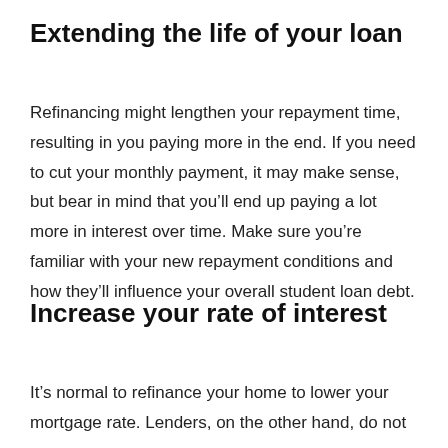Extending the life of your loan
Refinancing might lengthen your repayment time, resulting in you paying more in the end. If you need to cut your monthly payment, it may make sense, but bear in mind that you’ll end up paying a lot more in interest over time. Make sure you’re familiar with your new repayment conditions and how they’ll influence your overall student loan debt.
Increase your rate of interest
It’s normal to refinance your home to lower your mortgage rate. Lenders, on the other hand, do not